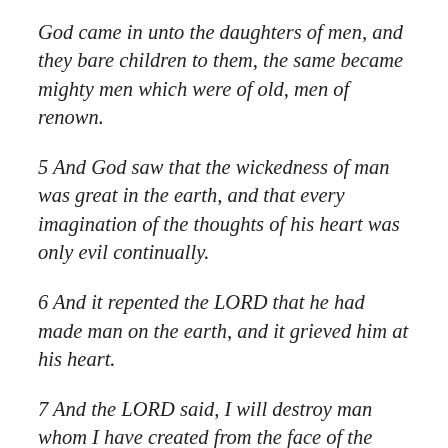God came in unto the daughters of men, and they bare children to them, the same became mighty men which were of old, men of renown.
5 And God saw that the wickedness of man was great in the earth, and that every imagination of the thoughts of his heart was only evil continually.
6 And it repented the LORD that he had made man on the earth, and it grieved him at his heart.
7 And the LORD said, I will destroy man whom I have created from the face of the earth; both man, and beast, and the